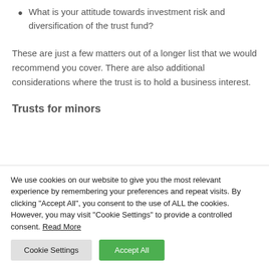What is your attitude towards investment risk and diversification of the trust fund?
These are just a few matters out of a longer list that we would recommend you cover. There are also additional considerations where the trust is to hold a business interest.
Trusts for minors
We use cookies on our website to give you the most relevant experience by remembering your preferences and repeat visits. By clicking “Accept All”, you consent to the use of ALL the cookies. However, you may visit "Cookie Settings" to provide a controlled consent. Read More